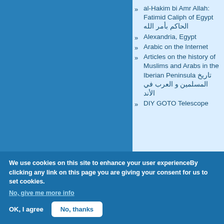al-Hakim bi Amr Allah: Fatimid Caliph of Egypt الحاكم بأمر الله
Alexandria, Egypt
Arabic on the Internet
Articles on the history of Muslims and Arabs in the Iberian Peninsula تاريخ المسلمين و العرب في الأند
DIY GOTO Telescope
We use cookies on this site to enhance your user experienceBy clicking any link on this page you are giving your consent for us to set cookies.
No, give me more info
OK, I agree
No, thanks